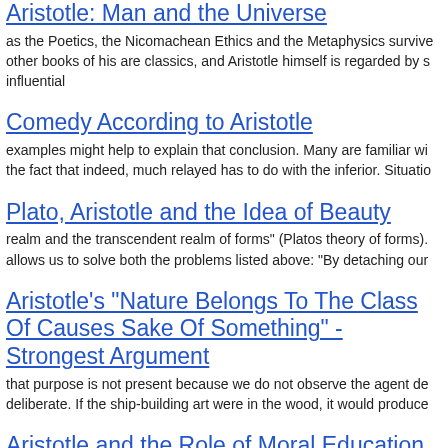Aristotle: Man and the Universe
as the Poetics, the Nicomachean Ethics and the Metaphysics survive other books of his are classics, and Aristotle himself is regarded by s influential
Comedy According to Aristotle
examples might help to explain that conclusion. Many are familiar wi the fact that indeed, much relayed has to do with the inferior. Situatio
Plato, Aristotle and the Idea of Beauty
realm and the transcendent realm of forms" (Platos theory of forms). allows us to solve both the problems listed above: "By detaching our
Aristotle's "Nature Belongs To The Class Of Causes Sake Of Something" - Strongest Argument
that purpose is not present because we do not observe the agent de deliberate. If the ship-building art were in the wood, it would produce
Aristotle and the Role of Moral Education
reference to things possessed by ancient heroes and gods and such